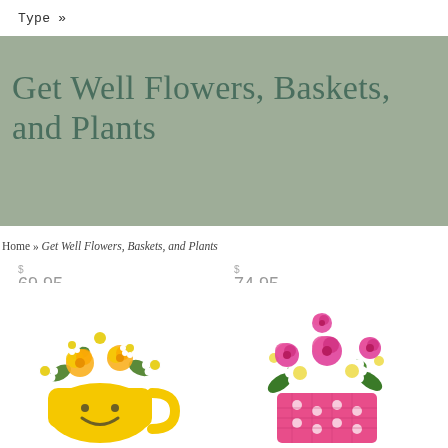Type »
Get Well Flowers, Baskets, and Plants
Home » Get Well Flowers, Baskets, and Plants
[Figure (photo): Yellow roses and white daisies in a yellow smiley face mug, price $69.95]
[Figure (photo): Pink roses and white daisies in a pink polka-dot vase, price $74.95]